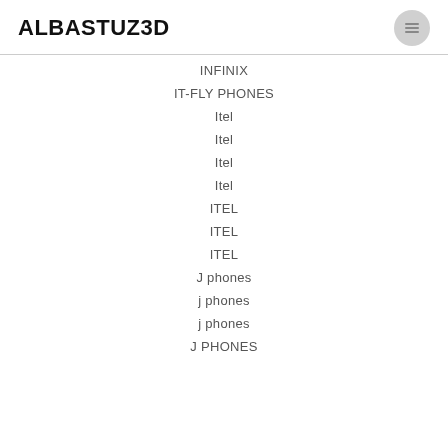ALBASTUZ3D
INFINIX
IT-FLY PHONES
Itel
Itel
Itel
Itel
ITEL
ITEL
ITEL
J phones
j phones
j phones
J PHONES